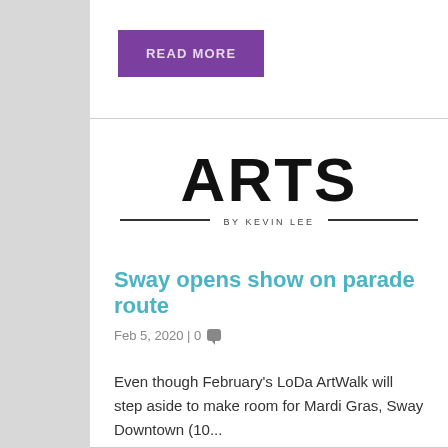READ MORE
[Figure (logo): ARTS by Kevin Lee logo with large bold ARTS text and horizontal rules on either side of 'BY KEVIN LEE' subtitle]
Sway opens show on parade route
Feb 5, 2020 | 0
Even though February's LoDa ArtWalk will step aside to make room for Mardi Gras, Sway Downtown (10...
READ MORE